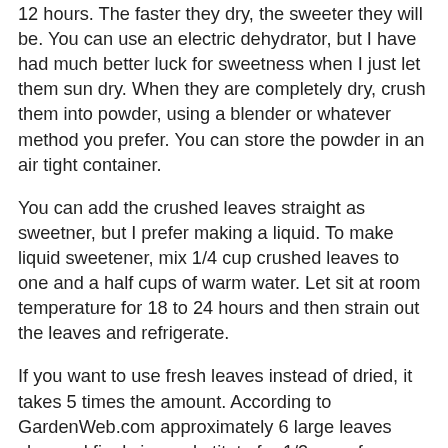12 hours.  The faster they dry, the sweeter they will be.  You can use an electric dehydrator, but I have had much better luck for sweetness when I just let them sun dry.  When they are completely dry, crush them into powder, using a blender or whatever method you prefer.  You can store the powder in an air tight container.
You can add the crushed leaves straight as sweetner, but I prefer making a liquid.  To make liquid sweetener, mix 1/4 cup crushed leaves to one and a half cups of warm water.  Let sit at room temperature for 18 to 24 hours and then strain out the leaves and refrigerate.
If you want to use fresh leaves instead of dried, it takes 5 times the amount.  According to GardenWeb.com approximately 6 large leaves chopped finely is a substitute for 1/2 cup of sugar for baking or in cooked recipes and 1 teaspoon of ground Stevia is equal to 1 cup of sugar; 2 drops of liquid essence is equal to 1 teaspoon sugar.  I find these to be less than accurate